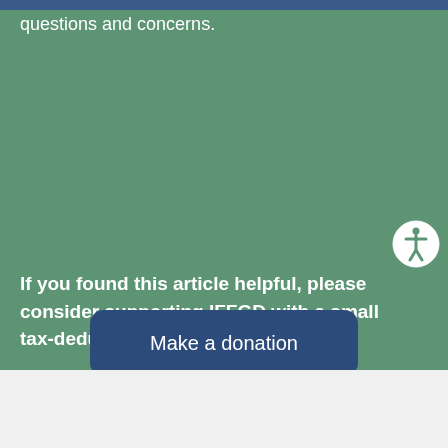questions and concerns.
If you found this article helpful, please consider supporting IFFGD with a small tax-deductible donation.
Make a donation